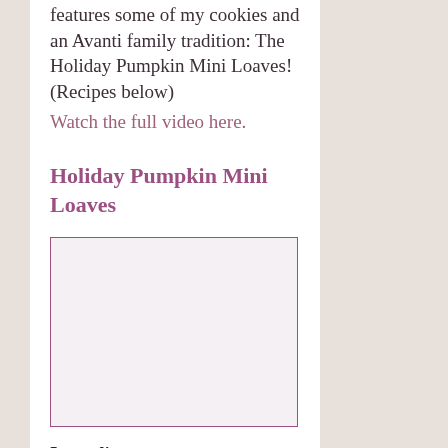features some of my cookies and an Avanti family tradition: The Holiday Pumpkin Mini Loaves! (Recipes below) Watch the full video here.
Holiday Pumpkin Mini Loaves
[Figure (photo): Empty image placeholder with purple border, light background]
Ingredients